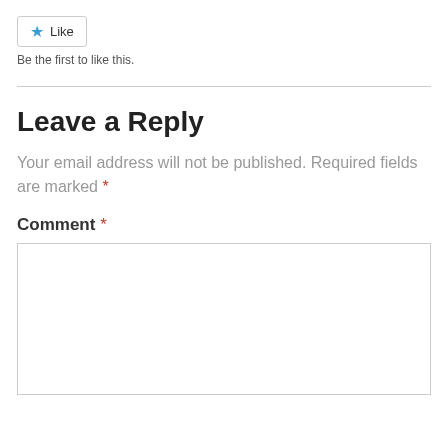[Figure (other): Like button with blue star icon]
Be the first to like this.
Leave a Reply
Your email address will not be published. Required fields are marked *
Comment *
[Figure (other): Empty comment text area input box]